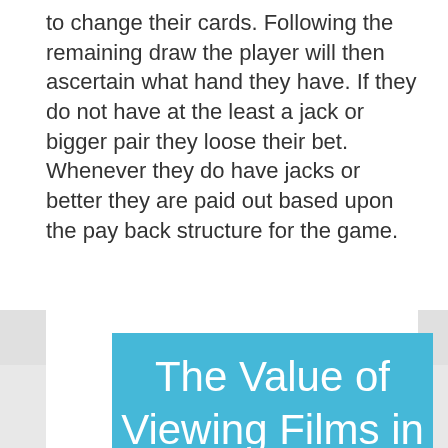to change their cards. Following the remaining draw the player will then ascertain what hand they have. If they do not have at the least a jack or bigger pair they loose their bet. Whenever they do have jacks or better they are paid out based upon the pay back structure for the game.
The Value of Viewing Films in Large-Velocity